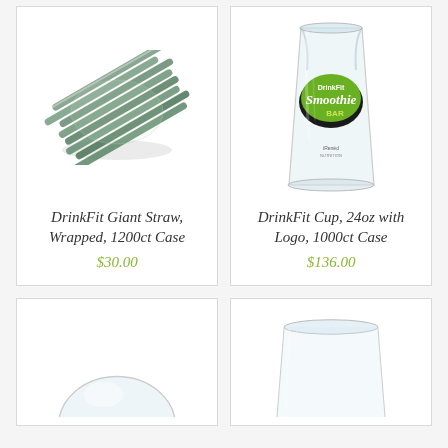[Figure (photo): Bundle of dark green giant straws wrapped in plastic, shown at an angle]
DrinkFit Giant Straw, Wrapped, 1200ct Case
$30.00
[Figure (photo): Clear plastic 24oz cup with DrinkFit Smoothie Bar logo label in green]
DrinkFit Cup, 24oz with Logo, 1000ct Case
$136.00
[Figure (photo): Partial view of a clear dome lid for a cup, cropped at bottom of page]
[Figure (photo): Partial view of a clear plastic cup, cropped at bottom of page]